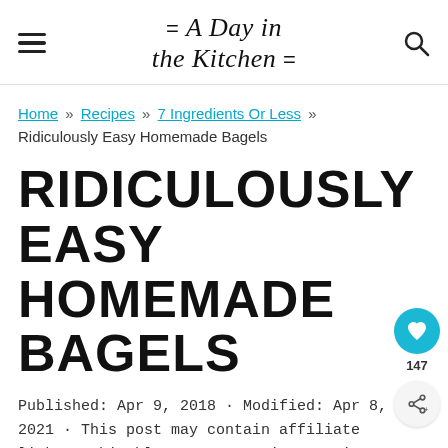= A Day in the Kitchen =
Home » Recipes » 7 Ingredients Or Less » Ridiculously Easy Homemade Bagels
RIDICULOUSLY EASY HOMEMADE BAGELS
Published: Apr 9, 2018 · Modified: Apr 8, 2021 · This post may contain affiliate links · This blog generates income via ads.